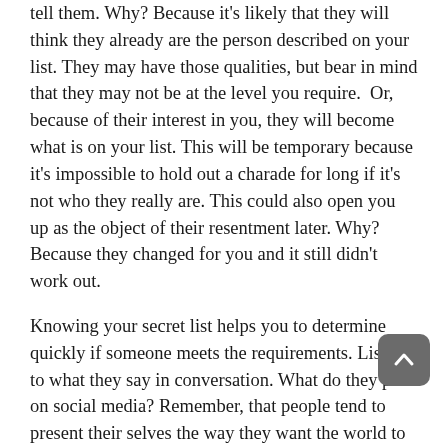tell them. Why? Because it's likely that they will think they already are the person described on your list. They may have those qualities, but bear in mind that they may not be at the level you require.  Or, because of their interest in you, they will become what is on your list. This will be temporary because it's impossible to hold out a charade for long if it's not who they really are. This could also open you up as the object of their resentment later. Why? Because they changed for you and it still didn't work out.
Knowing your secret list helps you to determine quickly if someone meets the requirements. Listen to what they say in conversation. What do they post on social media? Remember, that people tend to present their selves the way they want the world to see them. It's not always the person they'd be at home. So, don't fall for your Facebook friends based solely on their posts.
Step 2) I refer to the must haves on the list as my flags. If someone has the opposite or doesn't posses the key elements on my list, that's a flag not to proceed with a relationship any deeper than friendship.  Flags are your